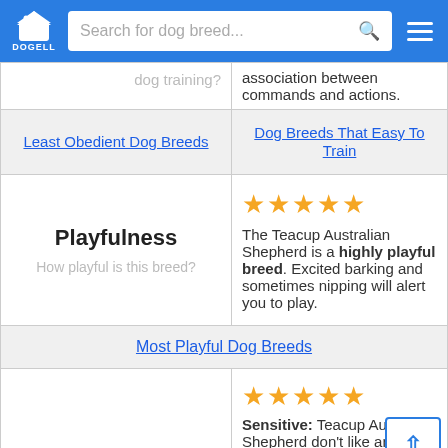DOGELL — Search for dog breed...
dog training? association between commands and actions.
Least Obedient Dog Breeds | Dog Breeds That Easy To Train
Playfulness — How playful is this breed? ★★★★★ The Teacup Australian Shepherd is a highly playful breed. Excited barking and sometimes nipping will alert you to play.
Most Playful Dog Breeds
★★★★★ Sensitive: Teacup Australian Shepherd don't like an irregular